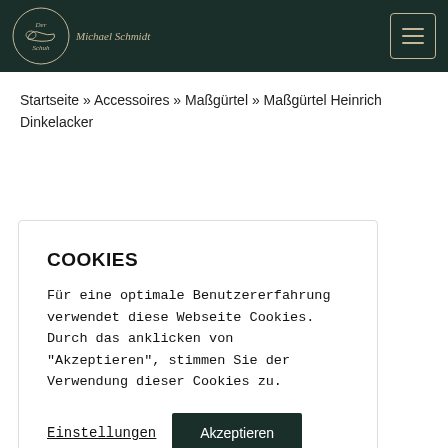Der Maßschuh – Michael Schmidt
Startseite » Accessoires » Maßgürtel » Maßgürtel Heinrich Dinkelacker
COOKIES
Für eine optimale Benutzererfahrung verwendet diese Webseite Cookies. Durch das anklicken von "Akzeptieren", stimmen Sie der Verwendung dieser Cookies zu.
Einstellungen   Akzeptieren